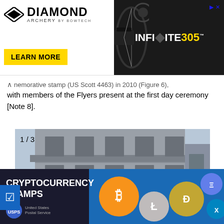[Figure (advertisement): Diamond Archery by Bowtech advertisement banner for Infinite 305 bow, with black bow image, yellow LEARN MORE button, and blue/yellow INFINITE 305 logo text]
nemorative stamp (US Scott 4463) in 2010 (Figure 6), with members of the Flyers present at the first day ceremony [Note 8].
[Figure (photo): Photograph of a multi-story grey stone building exterior, labeled 1/3, showing classical architectural details with large windows]
[Figure (advertisement): Cryptocurrency Stamps advertisement banner showing various cryptocurrency coins (Bitcoin, Litecoin, Dogecoin, Ethereum, Ripple) against a blue background]